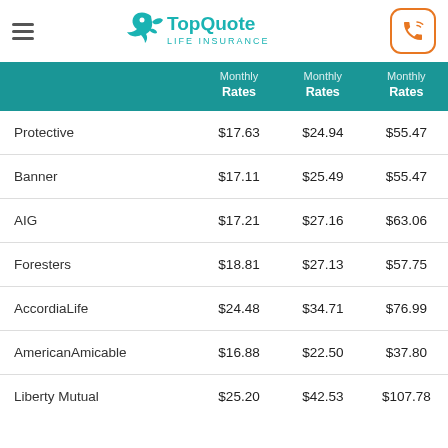TopQuote Life Insurance
|  | Monthly Rates | Monthly Rates | Monthly Rates |
| --- | --- | --- | --- |
| Protective | $17.63 | $24.94 | $55.47 |
| Banner | $17.11 | $25.49 | $55.47 |
| AIG | $17.21 | $27.16 | $63.06 |
| Foresters | $18.81 | $27.13 | $57.75 |
| AccordiaLife | $24.48 | $34.71 | $76.99 |
| AmericanAmicable | $16.88 | $22.50 | $37.80 |
| Liberty Mutual | $25.20 | $42.53 | $107.78 |